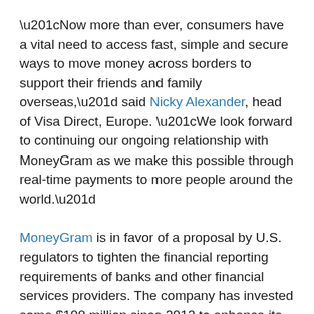“Now more than ever, consumers have a vital need to access fast, simple and secure ways to move money across borders to support their friends and family overseas,” said Nicky Alexander, head of Visa Direct, Europe. “We look forward to continuing our ongoing relationship with MoneyGram as we make this possible through real-time payments to more people around the world.”
MoneyGram is in favor of a proposal by U.S. regulators to tighten the financial reporting requirements of banks and other financial services providers. The company has invested some $100 million since 2012 to enhance its own compliance programs following allegations of consumer fraud.